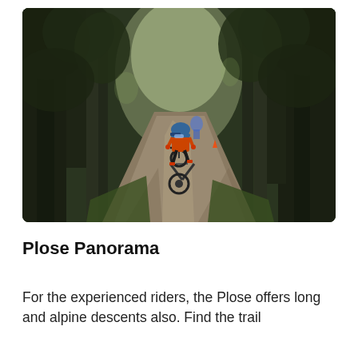[Figure (photo): A mountain biker wearing an orange jersey and blue helmet rides down a forest trail flanked by tall dark conifer trees. A second rider is visible in the background. The trail is dirt/gravel with dappled sunlight.]
Plose Panorama
For the experienced riders, the Plose offers long and alpine descents also. Find the trail